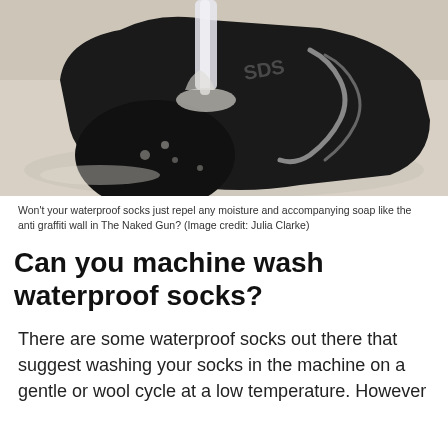[Figure (photo): Close-up photo of a black waterproof sock being rinsed under running water in a sink. Water streams strongly onto the toe area of the sock. The sock has a grey wavy logo/stripe on the side. The sink basin is light beige/cream colored.]
Won't your waterproof socks just repel any moisture and accompanying soap like the anti graffiti wall in The Naked Gun? (Image credit: Julia Clarke)
Can you machine wash waterproof socks?
There are some waterproof socks out there that suggest washing your socks in the machine on a gentle or wool cycle at a low temperature. However